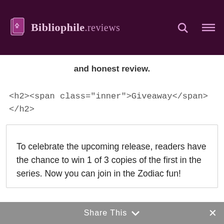Bibliophile.reviews
and honest review.
<h2><span class="inner">Giveaway</span></h2>
To celebrate the upcoming release, readers have the chance to win 1 of 3 copies of the first in the series. Now you can join in the Zodiac fun!
Share This